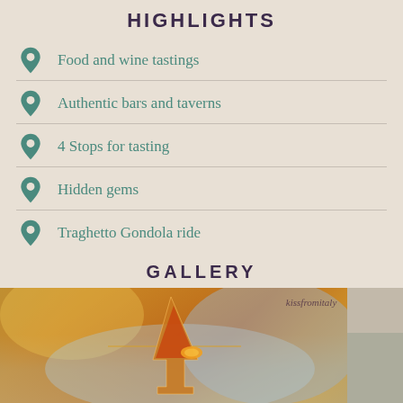HIGHLIGHTS
Food and wine tastings
Authentic bars and taverns
4 Stops for tasting
Hidden gems
Traghetto Gondola ride
GALLERY
[Figure (photo): Photo of a cocktail (Aperol Spritz) in a wine glass with blurred bar background. Watermark: kissfromitaly]